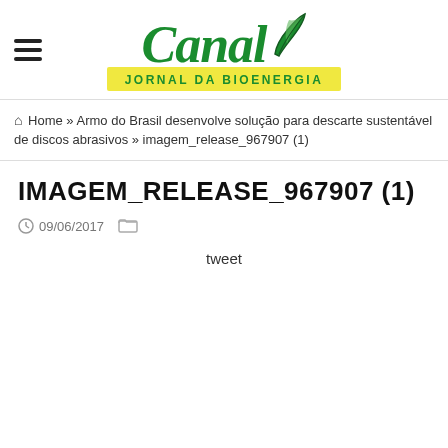[Figure (logo): Canal Jornal da Bioenergia logo with green italic text and leaf graphic, yellow tagline banner]
Home » Armo do Brasil desenvolve solução para descarte sustentável de discos abrasivos » imagem_release_967907 (1)
IMAGEM_RELEASE_967907 (1)
09/06/2017
tweet